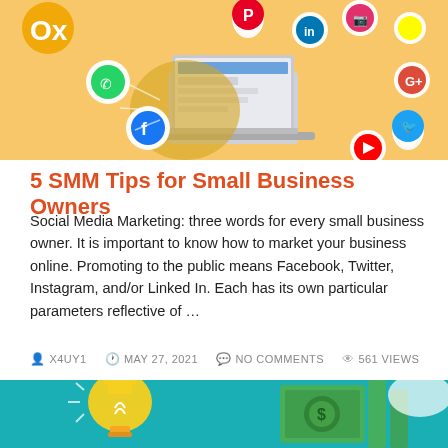[Figure (illustration): Social media marketing banner with laptop surrounded by social media icons (Facebook, Pinterest, LinkedIn, Instagram, Snapchat, Google+, Twitter, YouTube, WhatsApp) on a golden/yellow background with OX logo in top left.]
5 SMM Tips for Small Business Owners
Social Media Marketing: three words for every small business owner. It is important to know how to market your business online. Promoting to the public means Facebook, Twitter, Instagram, and/or Linked In. Each has its own particular parameters reflective of …
X4UY1  MAY 27, 2021  NO COMMENTS  561 VIEWS
[Figure (illustration): Second article banner with teal/turquoise background showing a glowing light bulb with trophy shape and green dollar bill illustration on the right side.]